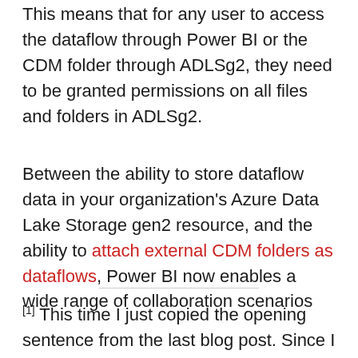This means that for any user to access the dataflow through Power BI or the CDM folder through ADLSg2, they need to be granted permissions on all files and folders in ADLSg2.
Between the ability to store dataflow data in your organization's Azure Data Lake Storage gen2 resource, and the ability to attach external CDM folders as dataflows, Power BI now enables a wide range of collaboration scenarios
[1] This time I just copied the opening sentence from the last blog post. Since I was writing them